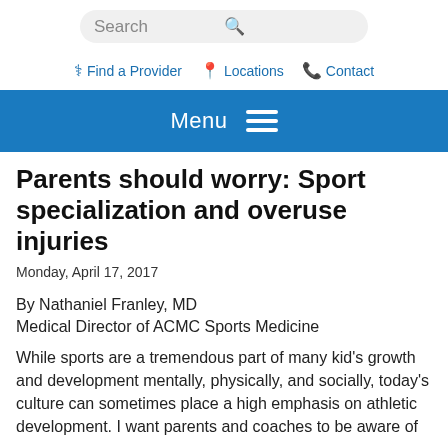Search
Find a Provider   Locations   Contact
Menu
Parents should worry: Sport specialization and overuse injuries
Monday, April 17, 2017
By Nathaniel Franley, MD
Medical Director of ACMC Sports Medicine
While sports are a tremendous part of many kid's growth and development mentally, physically, and socially, today's culture can sometimes place a high emphasis on athletic development. I want parents and coaches to be aware of